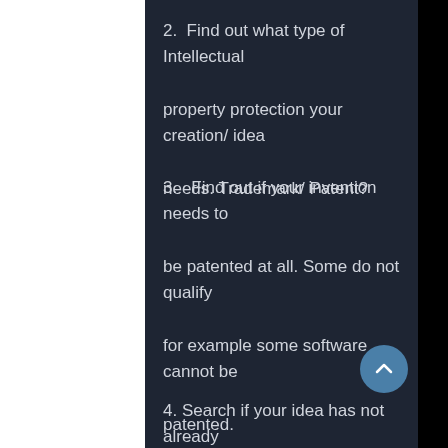2.  Find out what type of Intellectual property protection your creation/ idea needs. Trademark/ Patent?
3.   Find out if your invention needs to be patented at all. Some do not qualify for example some software cannot be patented.
4. Search if your idea has not already